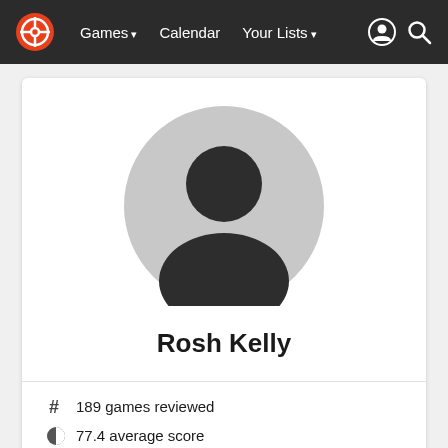Games  Calendar  Your Lists
[Figure (illustration): Default user avatar: grey circle with dark silhouette of a person (head and shoulders)]
Rosh Kelly
# 189 games reviewed
77.4 average score
80 median score